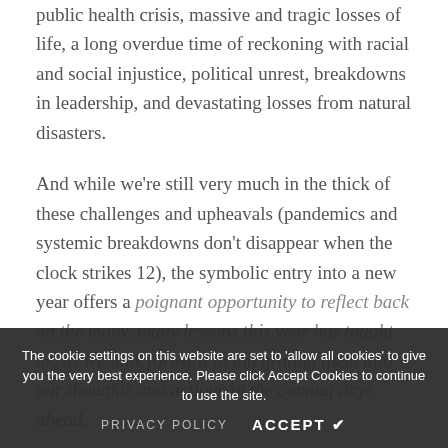public health crisis, massive and tragic losses of life, a long overdue time of reckoning with racial and social injustice, political unrest, breakdowns in leadership, and devastating losses from natural disasters.
And while we're still very much in the thick of these challenges and upheavals (pandemics and systemic breakdowns don't disappear when the clock strikes 12), the symbolic entry into a new year offers a poignant opportunity to reflect back on the many, many lessons this year has taught us, as we look forward to integrating them into our thoughts and actions in the coming days ahead.
The cookie settings on this website are set to 'allow all cookies' to give you the very best experience. Please click Accept Cookies to continue to use the site.
PRIVACY POLICY   ACCEPT ✔